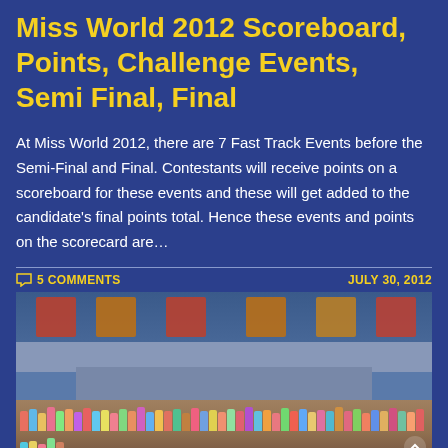Miss World 2012 Scoreboard, Points, Challenge Events, Semi Final, Final
At Miss World 2012, there are 7 Fast Track Events before the Semi-Final and Final. Contestants will receive points on a scoreboard for these events and these will get added to the candidate's final points total. Hence these events and points on the scorecard are…
5 COMMENTS
JULY 30, 2012
[Figure (photo): Group photo of Miss World 2012 contestants posed in front of a building with Chinese signage. Large group of women in colorful outfits standing on steps outside a venue.]